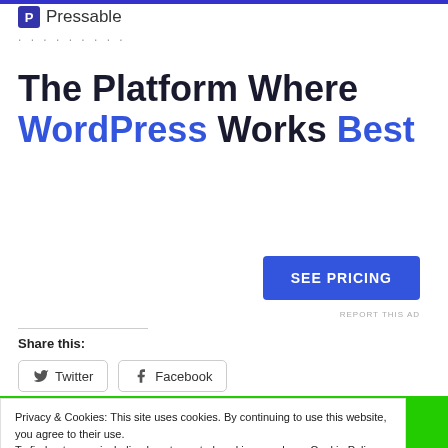[Figure (logo): Pressable logo with P icon and brand name]
The Platform Where WordPress Works Best
[Figure (other): SEE PRICING button in blue]
REPORT THIS AD
Share this:
[Figure (other): Twitter and Facebook share buttons]
Privacy & Cookies: This site uses cookies. By continuing to use this website, you agree to their use. To find out more, including how to control cookies, see here: Cookie Policy
[Figure (other): Green Call Now bar at bottom with phone icon]